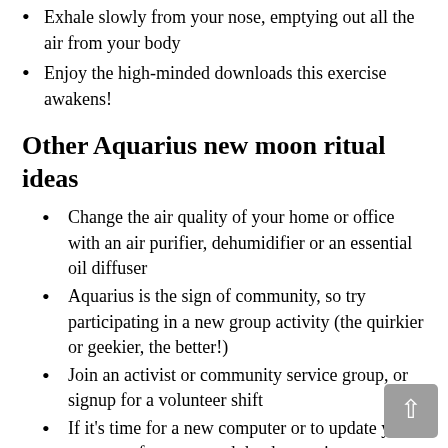Exhale slowly from your nose, emptying out all the air from your body
Enjoy the high-minded downloads this exercise awakens!
Other Aquarius new moon ritual ideas
Change the air quality of your home or office with an air purifier, dehumidifier or an essential oil diffuser
Aquarius is the sign of community, so try participating in a new group activity (the quirkier or geekier, the better!)
Join an activist or community service group, or signup for a volunteer shift
If it's time for a new computer or to update your system software, spend the day getting your